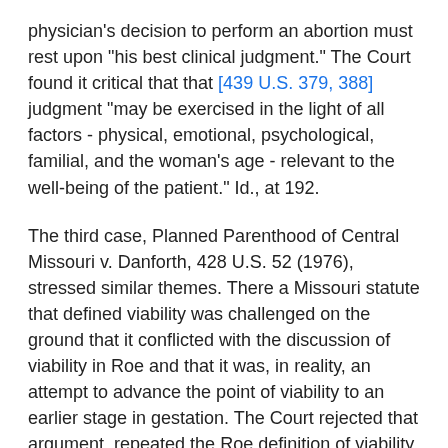physician's decision to perform an abortion must rest upon "his best clinical judgment." The Court found it critical that that [439 U.S. 379, 388] judgment "may be exercised in the light of all factors - physical, emotional, psychological, familial, and the woman's age - relevant to the well-being of the patient." Id., at 192.
The third case, Planned Parenthood of Central Missouri v. Danforth, 428 U.S. 52 (1976), stressed similar themes. There a Missouri statute that defined viability was challenged on the ground that it conflicted with the discussion of viability in Roe and that it was, in reality, an attempt to advance the point of viability to an earlier stage in gestation. The Court rejected that argument, repeated the Roe definition of viability, 428 U.S., at 63 , and observed again that viability is "a matter of medical judgment, skill, and technical ability, and we preserved [in Roe] the flexibility of the term." Id., at 64. The Court also rejected a contention that "a specified